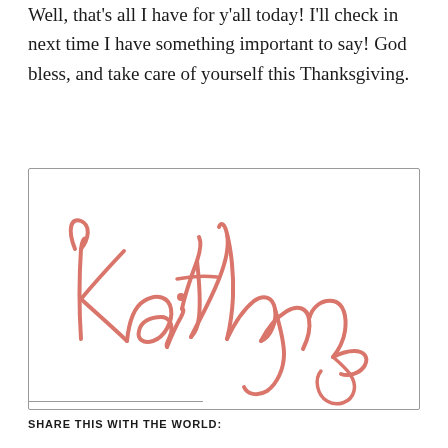sign up page: http://eepurl.com/cfr3bD. Well, that’s all I have for y’all today! I’ll check in next time I have something important to say! God bless, and take care of yourself this Thanksgiving.
[Figure (illustration): Handwritten cursive signature reading 'Kaitlyn' in a pinkish-red/salmon color on white background, enclosed in a rectangle with thin border.]
SHARE THIS WITH THE WORLD: